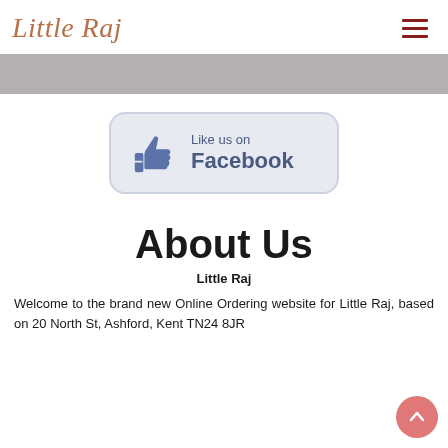Little Raj
[Figure (logo): Little Raj script logo in brownish-orange italic serif font]
[Figure (illustration): Grey banner/hero image placeholder]
[Figure (other): Like us on Facebook button with thumbs up icon, light blue-grey rounded rectangle button]
About Us
Little Raj
Welcome to the brand new Online Ordering website for Little Raj, based on 20 North St, Ashford, Kent TN24 8JR